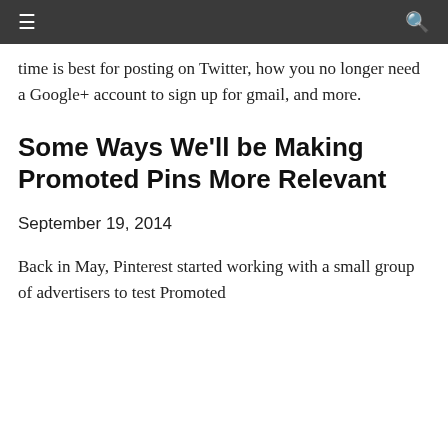≡  🔍
time is best for posting on Twitter, how you no longer need a Google+ account to sign up for gmail, and more.
Some Ways We'll be Making Promoted Pins More Relevant
September 19, 2014
Back in May, Pinterest started working with a small group of advertisers to test Promoted